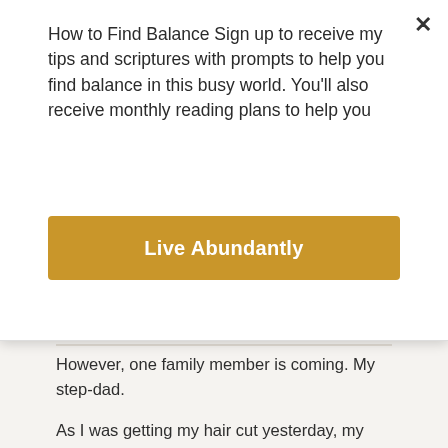How to Find Balance Sign up to receive my tips and scriptures with prompts to help you find balance in this busy world. You'll also receive monthly reading plans to help you
Live Abundantly
However, one family member is coming. My step-dad.
As I was getting my hair cut yesterday, my hair-stylist and I talked about the “step-factor”. Well, we didn’t call it that, but this is what it is. It’s part of our culture these days. She deals with it too in her family. Growing up I never thought this would be something I would have in my life, but things change don’t they?
My step-dad is so not my dad. His DNA is definitely not mine. For years I wouldn’t call him my step-dad; he was my mother’s husband. They married two years